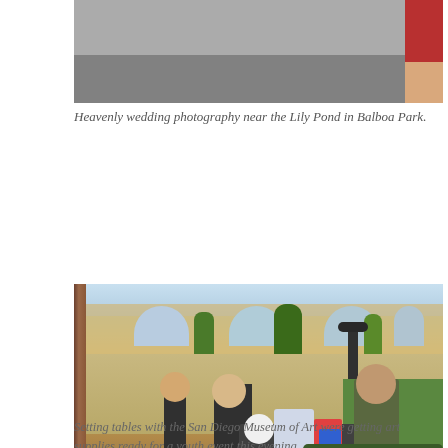[Figure (photo): Partial photo at top of page showing a road/pavement with a person in red skirt and bare legs visible at upper right edge.]
Heavenly wedding photography near the Lily Pond in Balboa Park.
[Figure (photo): Photo of two women at an outdoor art supply cart in a park setting with arched buildings and trees in the background. One woman wears glasses and a black shirt; the other has dark hair in a bun and wears an olive jacket.]
Privacy & Cookies: This site uses cookies. By continuing to use this website, you agree to their use.
To find out more, including how to control cookies, see here: Cookie Policy
Close and accept
Setting tables with the San Diego Museum of Art were getting art supplies ready for a youth event this evening.